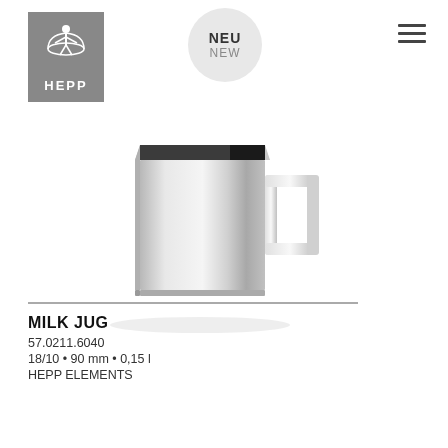[Figure (logo): HEPP brand logo — grey square box with stylized waiter figure and 'HEPP' text in white]
[Figure (other): NEU / NEW circular badge in light grey]
[Figure (photo): Product photo of a polished stainless steel milk jug with square angular body and geometric handle, shown on white background]
MILK JUG
57.0211.6040
18/10 • 90 mm • 0,15 l
HEPP ELEMENTS